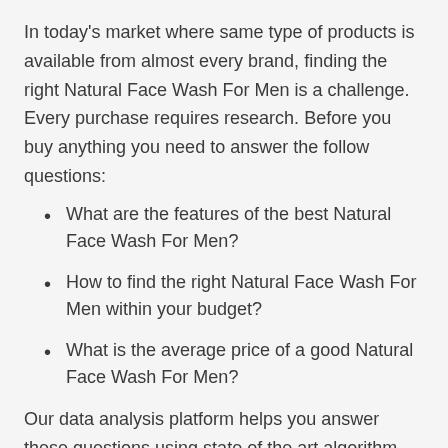In today's market where same type of products is available from almost every brand, finding the right Natural Face Wash For Men is a challenge. Every purchase requires research. Before you buy anything you need to answer the follow questions:
What are the features of the best Natural Face Wash For Men?
How to find the right Natural Face Wash For Men within your budget?
What is the average price of a good Natural Face Wash For Men?
Our data analysis platform helps you answer these questions using state of the art algorithm. We analyze thousands of reviews from real users to generate usability score for each